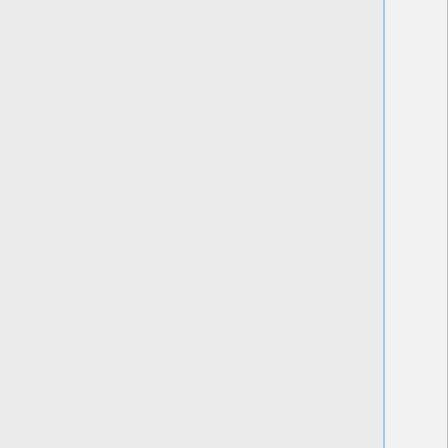• Greenway Crossing • Halecatch Lake • The Hedge Maze • Hillshire Ruins • The Old Greenway Fort • Old Sweetgrass Farm • Ost Barandor • Outlaw's Haven • Pierson's Farm • The Quince Farmstead • Saeradan's Cabin • Skirmish